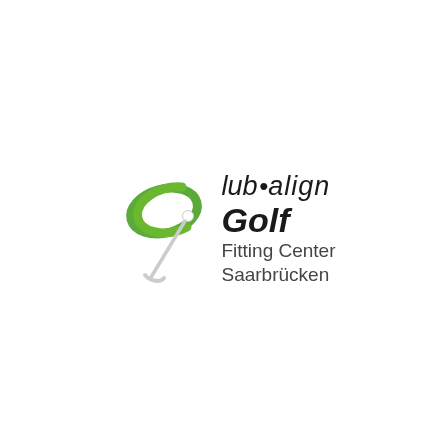[Figure (logo): club.align Golf Fitting Center Saarbrücken logo with green oval ellipse and golf club graphic on left, text on right]